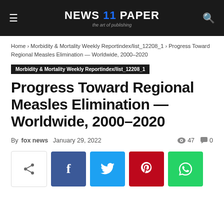NEWS 11 PAPER — the art of publishing
Home › Morbidity & Mortality Weekly Reportindex/list_12208_1 › Progress Toward Regional Measles Elimination — Worldwide, 2000–2020
Morbidity & Mortality Weekly Reportindex/list_12208_1
Progress Toward Regional Measles Elimination — Worldwide, 2000–2020
By fox news   January 29, 2022   👁 47   💬 0